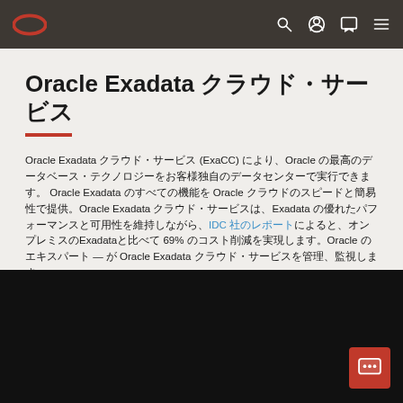Oracle logo navigation bar with search, account, chat, and menu icons
Oracle Exadata クラウド・サービス
Oracle Exadata クラウド・サービス (ExaCC) により、Oracle の最高のデータベース・テクノロジーをお客様独自のデータセンターで実行できます。Oracle Exadata のすべての機能を Oracle クラウドのスピードと簡易性で提供。Oracle Exadata クラウド・サービスは、Exadata の優れたパフォーマンスと可用性を維持しながら、IDC 社のレポートによると、オンプレミスのExadataと比べて 69% のコスト削減を実現します。Oracle のエキスパート — が Oracle Exadata クラウド・サービスを管理、監視します。
[Figure (screenshot): Dark/black video player area at bottom of page]